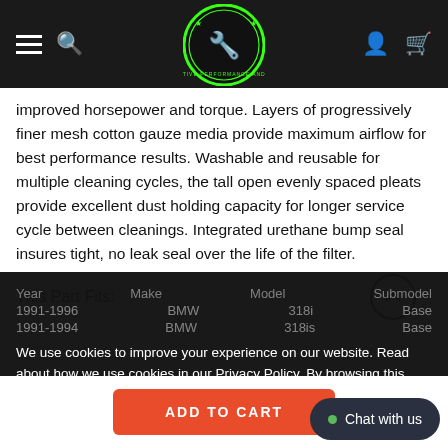Navigation bar with hamburger menu, search icon, logo, user icon, and cart icon
improved horsepower and torque. Layers of progressively finer mesh cotton gauze media provide maximum airflow for best performance results. Washable and reusable for multiple cleaning cycles, the tall open evenly spaced pleats provide excellent dust holding capacity for longer service cycle between cleanings. Integrated urethane bump seal insures tight, no leak seal over the life of the filter.
This Part Fits:
We use cookies to improve your experience on our website. Read about how we use cookies in our Privacy Policy. By browsing this website, you agree to our use of cookies. Privacy Policy
| Year | Make | Model | Submodel |
| --- | --- | --- | --- |
| 1991-1996 | BMW | 318i | Base |
| 1991-1994 | BMW | 318is | Base |